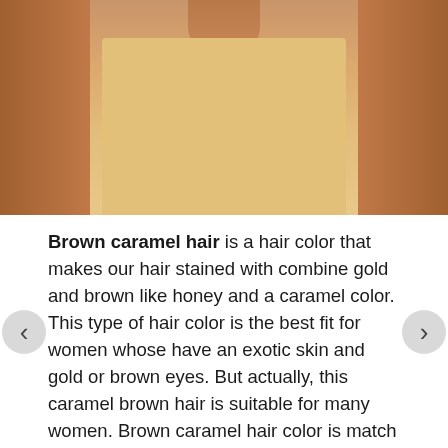[Figure (photo): Photo of a person's torso wearing a beige/caramel colored top, with bare arms visible on the sides]
Brown caramel hair is a hair color that makes our hair stained with combine gold and brown like honey and a caramel color. This type of hair color is the best fit for women whose have an exotic skin and gold or brown eyes. But actually, this caramel brown hair is suitable for many women. Brown caramel hair color is match for you that want to enjoy the summer vacation. Because look beauty in all situation is must for women.